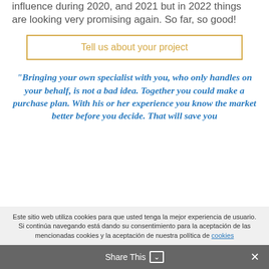influence during 2020, and 2021 but in 2022 things are looking very promising again. So far, so good!
Tell us about your project
“Bringing your own specialist with you, who only handles on your behalf, is not a bad idea. Together you could make a purchase plan. With his or her experience you know the market better before you decide. That will save you
Este sitio web utiliza cookies para que usted tenga la mejor experiencia de usuario. Si continúa navegando está dando su consentimiento para la aceptación de las mencionadas cookies y la aceptación de nuestra política de cookies
Share This